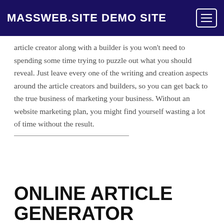MASSWEB.SITE DEMO SITE
article creator along with a builder is you won't need to spending some time trying to puzzle out what you should reveal. Just leave every one of the writing and creation aspects around the article creators and builders, so you can get back to the true business of marketing your business. Without an website marketing plan, you might find yourself wasting a lot of time without the result.
ONLINE ARTICLE GENERATOR